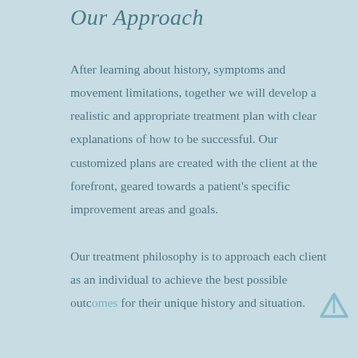Our Approach
After learning about history, symptoms and movement limitations, together we will develop a realistic and appropriate treatment plan with clear explanations of how to be successful. Our customized plans are created with the client at the forefront, geared towards a patient's specific improvement areas and goals.
Our treatment philosophy is to approach each client as an individual to achieve the best possible outcomes for their unique history and situation.